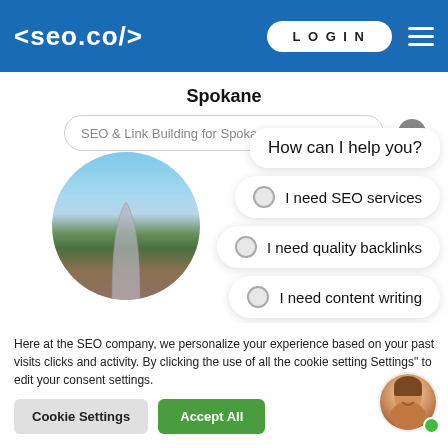[Figure (screenshot): Website header for seo.co with blue background, logo on left, LOGIN button and hamburger menu on right]
Spokane
SEO & Link Building for Spokane Businesses
[Figure (screenshot): Chat widget showing city circle image with options: How can I help you?, I need SEO services, I need quality backlinks, I need content writing, I'm looking for pricing]
Here at the SEO company, we personalize your experience based on your past visits clicks and activity. By clicking the use of all the cookie settings Settings" to edit your consent settings.
[Figure (photo): Agent avatar - woman with brown hair, smiling, with green online indicator dot]